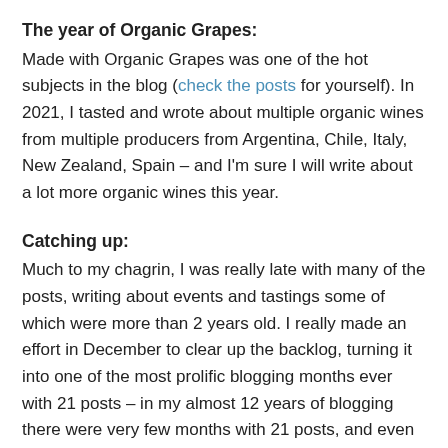The year of Organic Grapes:
Made with Organic Grapes was one of the hot subjects in the blog (check the posts for yourself). In 2021, I tasted and wrote about multiple organic wines from multiple producers from Argentina, Chile, Italy, New Zealand, Spain – and I'm sure I will write about a lot more organic wines this year.
Catching up:
Much to my chagrin, I was really late with many of the posts, writing about events and tastings some of which were more than 2 years old. I really made an effort in December to clear up the backlog, turning it into one of the most prolific blogging months ever with 21 posts – in my almost 12 years of blogging there were very few months with 21 posts, and even fewer with 22. Catching up is not